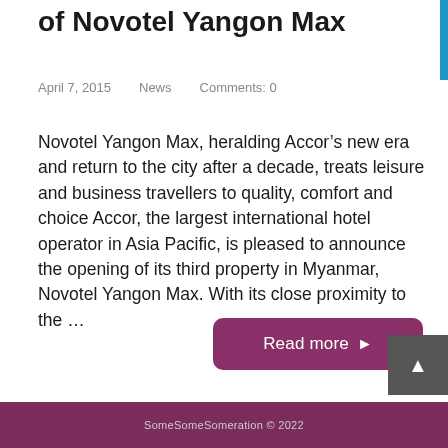of Novotel Yangon Max
April 7, 2015    News    Comments: 0
Novotel Yangon Max, heralding Accor’s new era and return to the city after a decade, treats leisure and business travellers to quality, comfort and choice Accor, the largest international hotel operator in Asia Pacific, is pleased to announce the opening of its third property in Myanmar, Novotel Yangon Max. With its close proximity to the …
Read more ►
SomeSomeSomeration © 2022